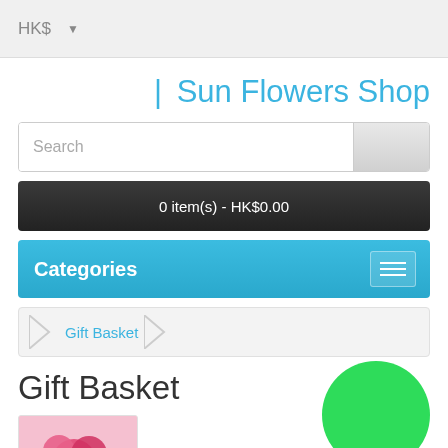HK$
| Sun Flowers Shop
[Figure (screenshot): Search bar with text 'Search' and a button on the right]
0 item(s) - HK$0.00
Categories
Gift Basket
Gift Basket
[Figure (photo): Flower bouquet thumbnail image showing pink flowers]